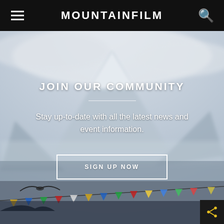MOUNTAINFILM
[Figure (photo): Blurred mountain landscape with snow-capped peak in the background and colorful prayer flags or banners in the foreground]
JOIN OUR COMMUNITY
Stay up-to-date with all the latest news and event information.
SIGN UP NOW